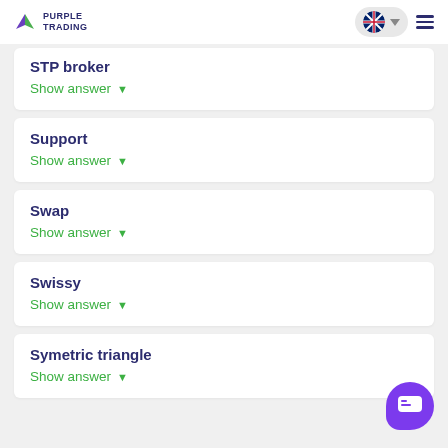PURPLE TRADING
STP broker
Show answer
Support
Show answer
Swap
Show answer
Swissy
Show answer
Symetric triangle
Show answer